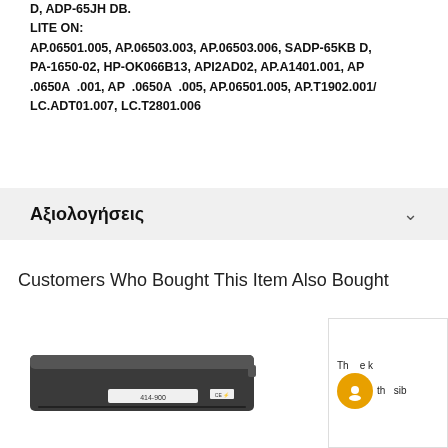D, ADP-65JH DB. LITE ON: AP.06501.005, AP.06503.003, AP.06503.006, SADP-65KB D, PA-1650-02, HP-OK066B13, API2AD02, AP.A1401.001, AP .0650A .001, AP .0650A .005, AP.06501.005, AP.T1902.001/ LC.ADT01.007, LC.T2801.006
Αξιολογήσεις
Customers Who Bought This Item Also Bought
[Figure (photo): A laptop battery product photo showing a black rectangular battery pack.]
[Figure (screenshot): Partial overlay showing a chat widget with orange circle icon and partial text 'Th e k th sib']